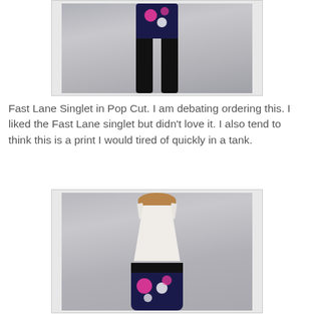[Figure (photo): Fashion product photo of a model wearing a floral Fast Lane Singlet in Pop Cut print with black pants, shown from mid-torso down]
Fast Lane Singlet in Pop Cut. I am debating ordering this. I liked the Fast Lane singlet but didn't love it. I also tend to think this is a print I would tired of quickly in a tank.
[Figure (photo): Fashion product photo of a model wearing a white/cream singlet top with floral print shorts featuring a black waistband and Pop Cut floral pattern in pink, white, and navy]